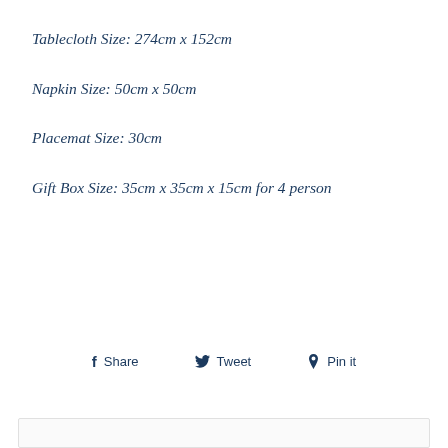Tablecloth Size: 274cm x 152cm
Napkin Size: 50cm x 50cm
Placemat Size: 30cm
Gift Box Size: 35cm x 35cm x 15cm for 4 person
Share  Tweet  Pin it